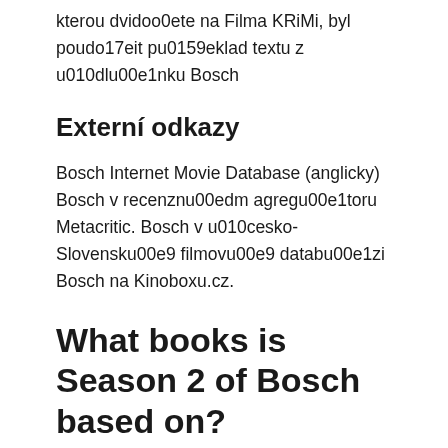kterou dvidoo0ete na Filma KRiMi, byl poudo17eit pu0159eklad textu z u010dlu00e1nku Bosch
Externí odkazy
Bosch Internet Movie Database (anglicky) Bosch v recenznu00edm agregu00e1toru Metacritic. Bosch v u010cesko-Slovensku00e9 filmovu00e9 databu00e1zi Bosch na Kinoboxu.cz.
What books is Season 2 of Bosch based on?
The second season of Bosch has ten episodes and premiered on March 11, 2016. The plot is based on the books Trunk Music, The Drop, and The Last Coyote, and Bosch is involved in a case involving a